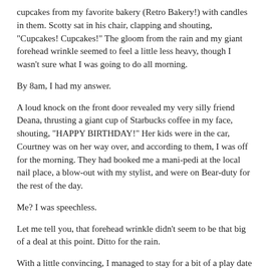cupcakes from my favorite bakery (Retro Bakery!) with candles in them. Scotty sat in his chair, clapping and shouting, "Cupcakes! Cupcakes!" The gloom from the rain and my giant forehead wrinkle seemed to feel a little less heavy, though I wasn't sure what I was going to do all morning.
By 8am, I had my answer.
A loud knock on the front door revealed my very silly friend Deana, thrusting a giant cup of Starbucks coffee in my face, shouting, "HAPPY BIRTHDAY!" Her kids were in the car, Courtney was on her way over, and according to them, I was off for the morning. They had booked me a mani-pedi at the local nail place, a blow-out with my stylist, and were on Bear-duty for the rest of the day.
Me? I was speechless.
Let me tell you, that forehead wrinkle didn't seem to be that big of a deal at this point. Ditto for the rain.
With a little convincing, I managed to stay for a bit of a play date with